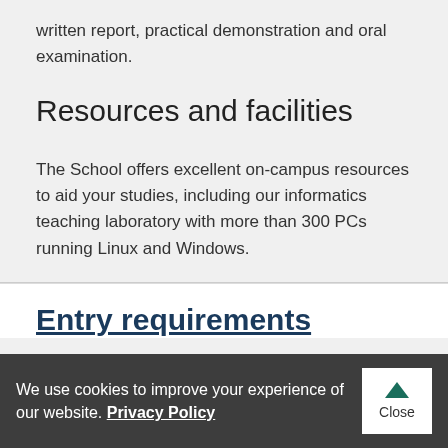written report, practical demonstration and oral examination.
Resources and facilities
The School offers excellent on-campus resources to aid your studies, including our informatics teaching laboratory with more than 300 PCs running Linux and Windows.
Entry requirements
We use cookies to improve your experience of our website. Privacy Policy